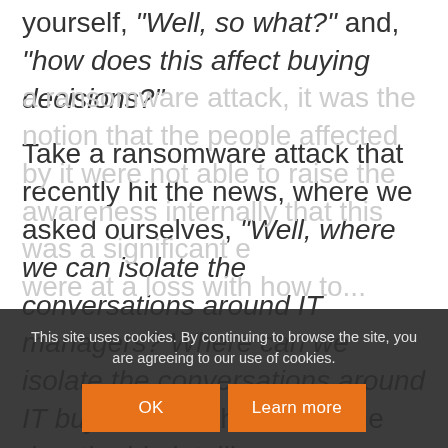yourself, "Well, so what?" and, "how does this affect buying decisions?"
Take a ransomware attack that recently hit the news, where we asked ourselves, "Well, where we can isolate the conversations around IT managers? Where can we isolate the conversations around IT buyers? " At the end of the day, the big intelligence gathered wasn't simply around the fact that there was a ransomware attack, it was the notion that the people affected by it were not able to raise the awareness internally that this was a significant e... were at a loss with how to...
This site uses cookies. By continuing to browse the site, you are agreeing to our use of cookies.
OK
Learn more